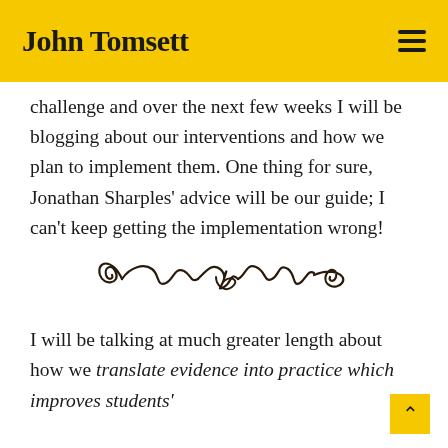John Tomsett
challenge and over the next few weeks I will be blogging about our interventions and how we plan to implement them. One thing for sure, Jonathan Sharples' advice will be our guide; I can't keep getting the implementation wrong!
[Figure (illustration): Decorative ornamental flourish divider made of curling scrollwork]
I will be talking at much greater length about how we translate evidence into practice which improves students'